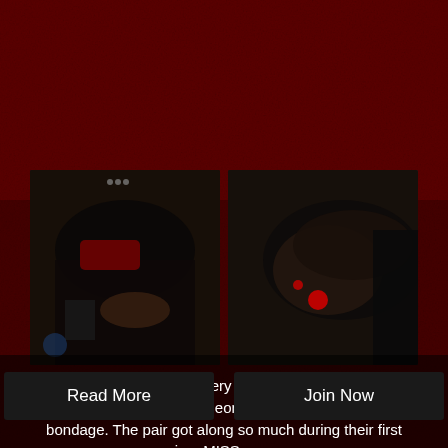[Figure (photo): Two photos side by side on dark red textured background: left photo shows a woman in red and black clothing bending forward; right photo shows a woman with a red gag/ball in her mouth looking down]
Mistress MISSogyny is very happy to welcome Sarah Shevon back to her dungeon for more lezdom device bondage. The pair got along so much during their first session, MISSogyny c...
Read More
Join Now